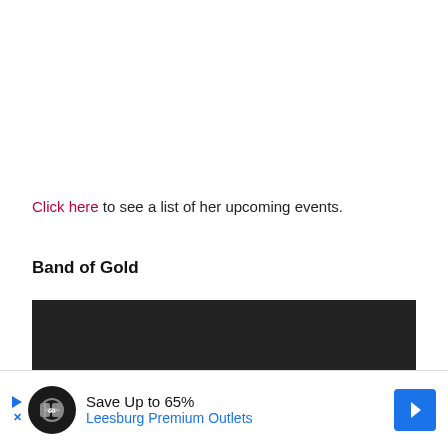Click here to see a list of her upcoming events.
Band of Gold
[Figure (other): Dark/black rectangular image block, appears to be a video thumbnail or image placeholder for 'Band of Gold']
[Figure (other): Advertisement banner: Save Up to 65% Leesburg Premium Outlets, with play button icon and blue arrow icon]